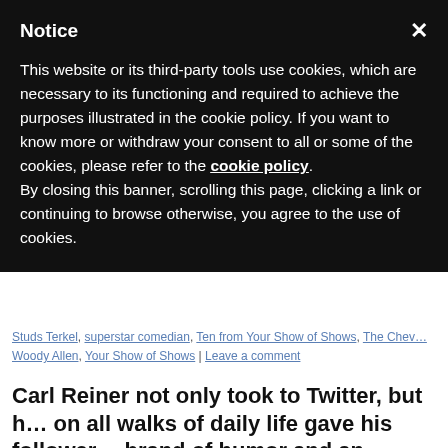Notice
This website or its third-party tools use cookies, which are necessary to its functioning and required to achieve the purposes illustrated in the cookie policy. If you want to know more or withdraw your consent to all or some of the cookies, please refer to the cookie policy.
By closing this banner, scrolling this page, clicking a link or continuing to browse otherwise, you agree to the use of cookies.
Studs Terkel, superstar comedian, Ten from Your Show of Shows, The Chev… Woody Allen, Your Show of Shows | Leave a comment
Carl Reiner not only took to Twitter, but h… on all walks of daily life gave his follower… brand of humor and an unfiltered window…
Posted on June 30, 2020 by admin
Place of follow and like…